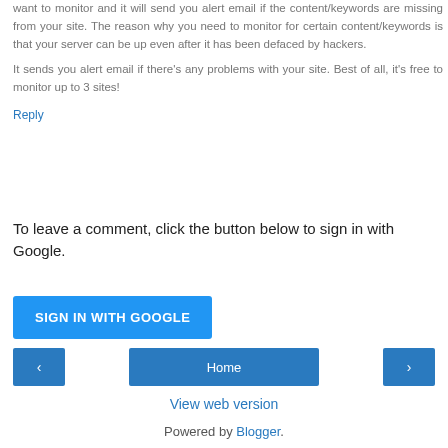want to monitor and it will send you alert email if the content/keywords are missing from your site. The reason why you need to monitor for certain content/keywords is that your server can be up even after it has been defaced by hackers.
It sends you alert email if there's any problems with your site. Best of all, it's free to monitor up to 3 sites!
Reply
To leave a comment, click the button below to sign in with Google.
[Figure (other): SIGN IN WITH GOOGLE button (blue button with white text)]
[Figure (other): Navigation row with left arrow button, Home button, and right arrow button]
View web version
Powered by Blogger.